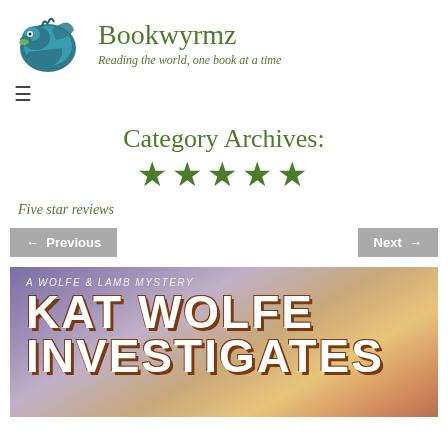Bookwyrm z — Reading the world, one book at a time
Category Archives: ★★★★★
Five star reviews
← Previous    Next →
[Figure (photo): Book cover for 'Kat Wolfe Investigates', subtitled 'A Wolfe & Lamb Mystery', with stylized large white text on a dramatic sky background.]